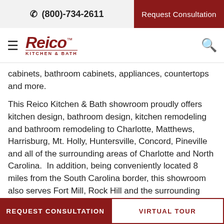(800)-734-2611  |  Request Consultation
[Figure (logo): Reico Kitchen & Bath logo with hamburger menu and search icon]
cabinets, bathroom cabinets, appliances, countertops and more.
This Reico Kitchen & Bath showroom proudly offers kitchen design, bathroom design, kitchen remodeling and bathroom remodeling to Charlotte, Matthews, Harrisburg, Mt. Holly, Huntersville, Concord, Pineville and all of the surrounding areas of Charlotte and North Carolina.  In addition, being conveniently located 8 miles from the South Carolina border, this showroom also serves Fort Mill, Rock Hill and the surrounding areas in South Carolina.
REQUEST CONSULTATION | VIRTUAL TOUR